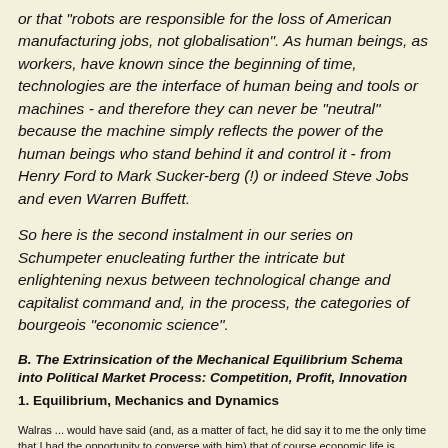or that "robots are responsible for the loss of American manufacturing jobs, not globalisation". As human beings, as workers, have known since the beginning of time, technologies are the interface of human being and tools or machines - and therefore they can never be "neutral" because the machine simply reflects the power of the human beings who stand behind it and control it - from Henry Ford to Mark Sucker-berg (!) or indeed Steve Jobs and even Warren Buffett.
So here is the second instalment in our series on Schumpeter enucleating further the intricate but enlightening nexus between technological change and capitalist command and, in the process, the categories of bourgeois "economic science".
B. The Extrinsication of the Mechanical Equilibrium Schema into Political Market Process: Competition, Profit, Innovation
1. Equilibrium, Mechanics and Dynamics
Walras ... would have said (and, as a matter of fact, he did say it to me the only time that I had the opportunity to converse with him) that of course economic life is essentially passive and merely